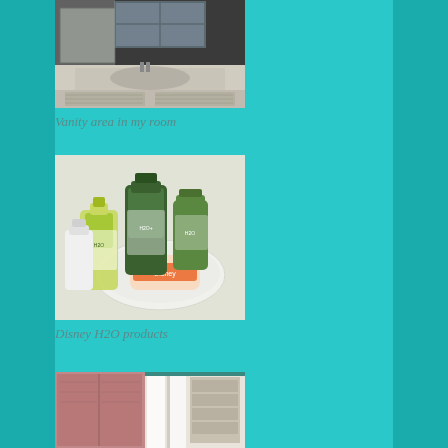[Figure (photo): Photo of a hotel bathroom vanity area with a sink, mirror, and white cabinets visible]
Vanity area in my room
[Figure (photo): Photo of Disney H2O toiletry products — small bottles of shampoo/lotion and a bar of soap on a decorative dish]
Disney H2O products
[Figure (photo): Photo of a hotel room door/closet area with pink/red sliding doors and white curtains]